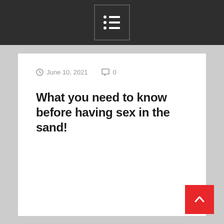[Navigation menu icon]
June 10, 2021   0
What you need to know before having sex in the sand!